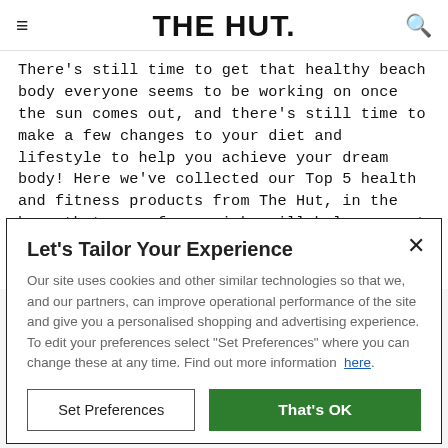THE HUT.
There's still time to get that healthy beach body everyone seems to be working on once the sun comes out, and there's still time to make a few changes to your diet and lifestyle to help you achieve your dream body! Here we've collected our Top 5 health and fitness products from The Hut, in the hope that any of our picks will help you get the healthy beach body that you deserve. Take a look:
Let's Tailor Your Experience
Our site uses cookies and other similar technologies so that we, and our partners, can improve operational performance of the site and give you a personalised shopping and advertising experience. To edit your preferences select "Set Preferences" where you can change these at any time. Find out more information here.
Set Preferences | That's OK